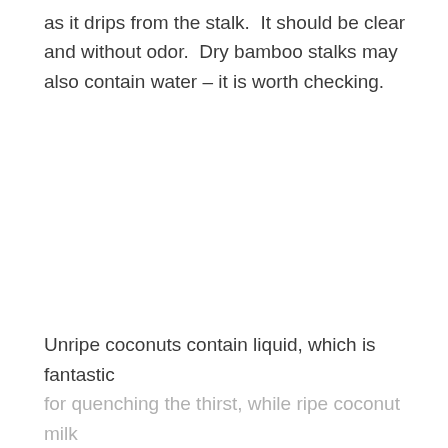as it drips from the stalk.  It should be clear and without odor.  Dry bamboo stalks may also contain water – it is worth checking.
Unripe coconuts contain liquid, which is fantastic for quenching the thirst, while ripe coconut milk